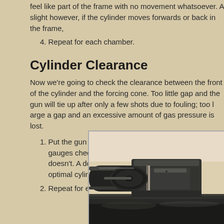feel like part of the frame with no movement whatsoever. A slight side to side movement is acceptable, however, if the cylinder moves forwards or back in the frame,
4. Repeat for each chamber.
Cylinder Clearance
Now we're going to check the clearance between the front of the cylinder and the forcing cone. Too little gap and the gun will tie up after only a few shots due to fouling; too large a gap and an excessive amount of gas pressure is lost.
1. Put the gun in full lockup again, and using the feeler gauges check to see if a .002 feeler fits but .006 doesn't. A dollar bill is nominally .004 inches thick; optimal cylinder gap is .002 to .006 inches.
2. Repeat for each chamber.
[Figure (photo): Close-up photograph of a revolver cylinder gap area, showing the front of the cylinder and the forcing cone/barrel interface from the side, with a reflective surface below.]